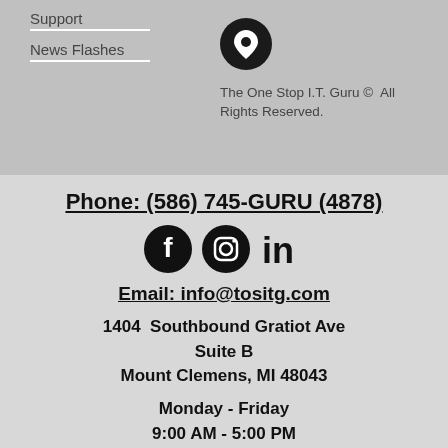Support
News Flashes
[Figure (illustration): Black circular map pin / location icon]
The One Stop I.T. Guru © All Rights Reserved.
Phone: (586) 745-GURU (4878)
[Figure (illustration): Social media icons: Facebook, Instagram, LinkedIn]
Email: info@tositg.com
1404 Southbound Gratiot Ave Suite B Mount Clemens, MI 48043
Monday - Friday 9:00 AM - 5:00 PM By appointment only